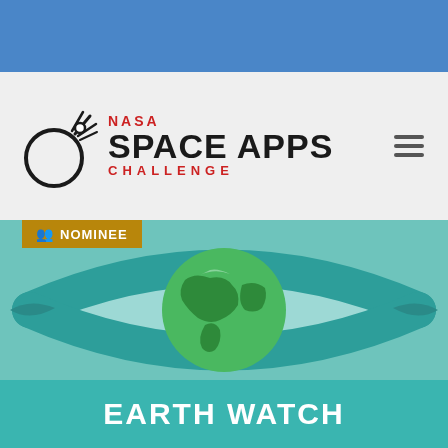[Figure (logo): Blue decorative top bar]
[Figure (logo): NASA Space Apps Challenge logo with orbital circle icon, NASA in red, SPACE APPS in large black bold text, CHALLENGE in red below]
[Figure (illustration): Illustration of an eye shape with a globe (Earth) in the center, teal/green colors on teal background, with a gold 'NOMINEE' badge in the top left corner and 'EARTH WATCH' text banner at the bottom in white on teal]